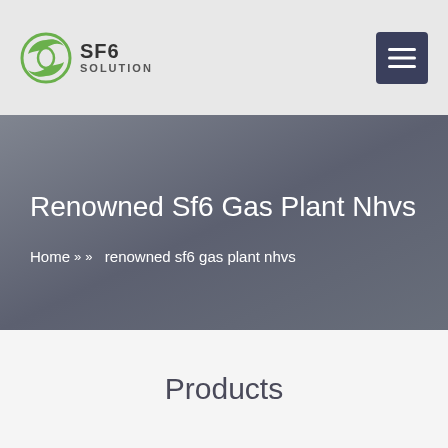SF6 SOLUTION
Renowned Sf6 Gas Plant Nhvs
Home » » renowned sf6 gas plant nhvs
Products